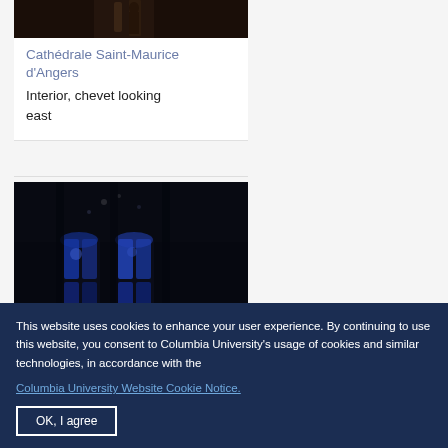[Figure (photo): Cathedral interior dark image at top, partial view]
Cathédrale Saint-Maurice d'Angers
Interior, chevet looking east
[Figure (photo): Dark cathedral interior with stained glass windows visible at bottom, blue and colorful light]
This website uses cookies to enhance your user experience. By continuing to use this website, you consent to Columbia University's usage of cookies and similar technologies, in accordance with the Columbia University Website Cookie Notice.
OK, I agree